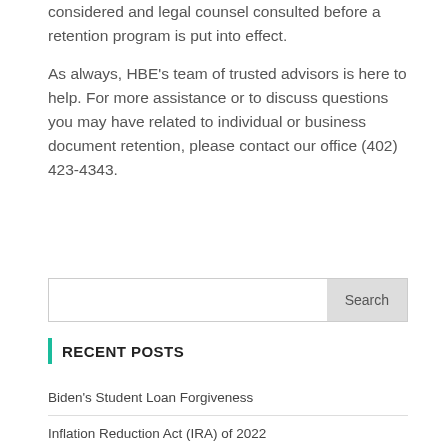considered and legal counsel consulted before a retention program is put into effect.

As always, HBE’s team of trusted advisors is here to help. For more assistance or to discuss questions you may have related to individual or business document retention, please contact our office (402) 423-4343.
Search
RECENT POSTS
Biden’s Student Loan Forgiveness
Inflation Reduction Act (IRA) of 2022